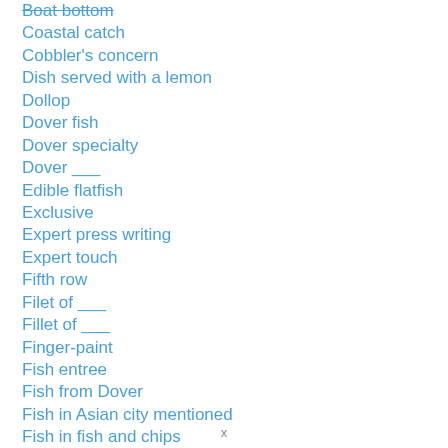Boat bottom
Coastal catch
Cobbler's concern
Dish served with a lemon
Dollop
Dover fish
Dover specialty
Dover ___
Edible flatfish
Exclusive
Expert press writing
Expert touch
Fifth row
Filet of ___
Fillet of ___
Finger-paint
Fish entree
Fish from Dover
Fish in Asian city mentioned
Fish in fish and chips
Fish only found in an area of the Atlantic
Fish; part of the foot
Fish: small amount
x